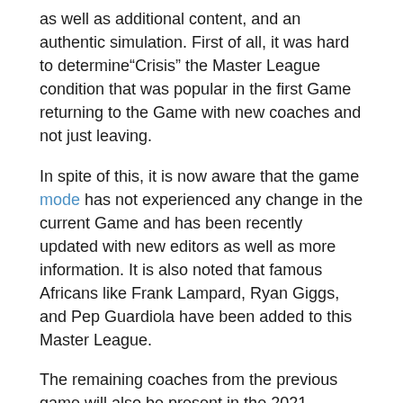as well as additional content, and an authentic simulation. First of all, it was hard to determine"Crisis" the Master League condition that was popular in the first Game returning to the Game with new coaches and not just leaving.
In spite of this, it is now aware that the game mode has not experienced any change in the current Game and has been recently updated with new editors as well as more information. It is also noted that famous Africans like Frank Lampard, Ryan Giggs, and Pep Guardiola have been added to this Master League.
The remaining coaches from the previous game will also be present in the 2021 season. In the winter low season, everyone will be eligible for playing. The womb is where the throat of Pes 2021 PC, Cenega's business Cienega is disclosed. Konami has previously worked on an improved variant of Unreal Engine 5 rotor with 9th generation